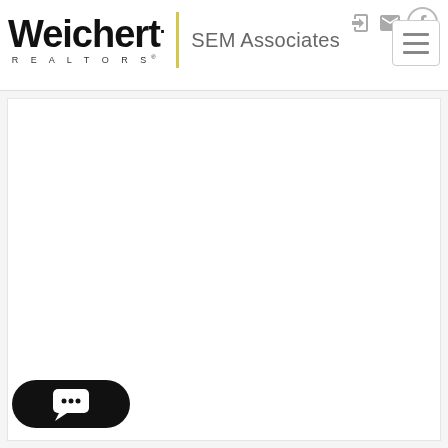[Figure (logo): Weichert Realtors logo with yellow vertical bar divider and SEM Associates text, plus navigation icons and hamburger menu button in top right]
[Figure (screenshot): White content area below the navigation bar, mostly blank white space]
[Figure (other): Black oval chat widget button with speech bubble icon containing three dots, positioned at bottom left]